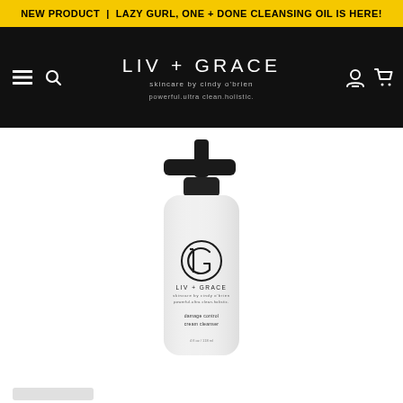NEW PRODUCT | LAZY GURL, ONE + DONE CLEANSING OIL IS HERE!
[Figure (screenshot): Liv + Grace skincare brand navigation header with logo, tagline 'skincare by cindy o'brien' and 'powerful.ultra clean.holistic.' on black background, with hamburger menu, search, user and cart icons]
[Figure (photo): White pump bottle product with black pump cap. Label reads: LIV + GRACE, skincare by cindy o'brien, powerful.ultra clean.holistic., damage control cream cleanser. 4 fl oz / 118 ml]